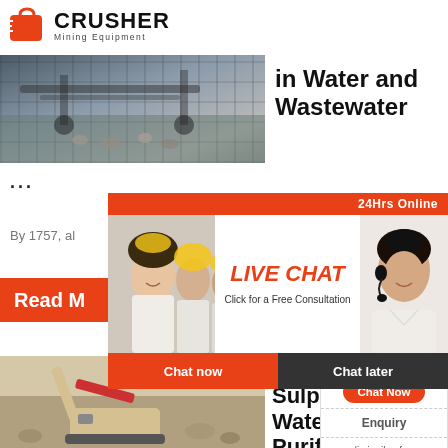[Figure (logo): Crusher Mining Equipment logo with red shopping bag icon and bold CRUSHER text]
[Figure (photo): Mining equipment / crusher machinery in operation, outdoor setting]
in Water and Wastewater
...
By 1757, al
[Figure (infographic): Live Chat popup overlay with workers in hard hats, 24Hrs Online bar, LIVE CHAT heading, Click for a Free Consultation text, Chat now and Chat later buttons, and customer service representative with headset]
Read M
[Figure (photo): Mining excavator/construction machinery aerial view]
Alumi Sulph Water Purificatio
[Figure (infographic): Right sidebar with Need questions & suggestion? text, Chat Now button, Enquiry link, and limingjlmofen@sina.com email]